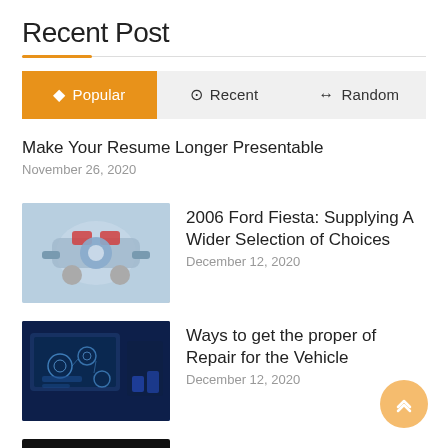Recent Post
Popular | Recent | Random
Make Your Resume Longer Presentable
November 26, 2020
[Figure (photo): Car engine mechanical components]
2006 Ford Fiesta: Supplying A Wider Selection of Choices
December 12, 2020
[Figure (photo): Technology/digital repair interface with icons]
Ways to get the proper of Repair for the Vehicle
December 12, 2020
[Figure (photo): Black image thumbnail]